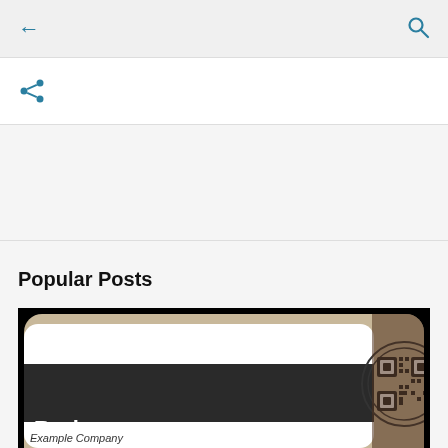← (back) 🔍 (search)
[Figure (screenshot): Mobile app UI screenshot showing a back arrow icon on the left and a search (magnifying glass) icon on the right in the top navigation bar, with a share icon below]
Popular Posts
[Figure (photo): Photo of a physical NFC/QR review card held up. The card is white with a dark stripe and reads 'Review us' in white bold text, with a QR code on the right and 'Example Company' text below the stripe. The background shows a room interior.]